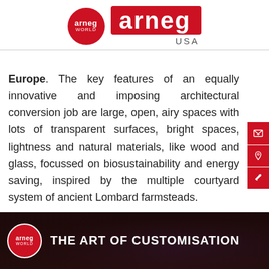[Figure (logo): Arneg World circle logo and Arneg USA rectangular logo header]
Europe. The key features of an equally innovative and imposing architectural conversion job are large, open, airy spaces with lots of transparent surfaces, bright spaces, lightness and natural materials, like wood and glass, focussed on biosustainability and energy saving, inspired by the multiple courtyard system of ancient Lombard farmsteads.
[Figure (photo): Dark background image with Arneg World logo and text THE ART OF CUSTOMISATION in white]